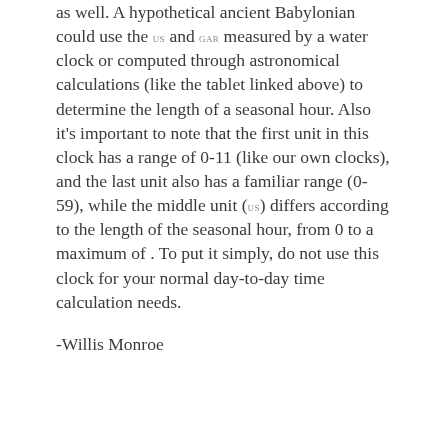as well. A hypothetical ancient Babylonian could use the US and GAR measured by a water clock or computed through astronomical calculations (like the tablet linked above) to determine the length of a seasonal hour. Also it's important to note that the first unit in this clock has a range of 0-11 (like our own clocks), and the last unit also has a familiar range (0-59), while the middle unit (US) differs according to the length of the seasonal hour, from 0 to a maximum of . To put it simply, do not use this clock for your normal day-to-day time calculation needs.
-Willis Monroe